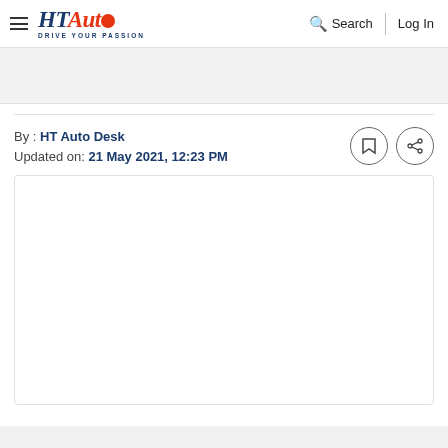HT Auto — Drive Your Passion | Search | Log In
[Figure (other): Advertisement banner placeholder (gray box)]
By : HT Auto Desk
Updated on: 21 May 2021, 12:23 PM
[Figure (other): Main article image placeholder (white box with border)]